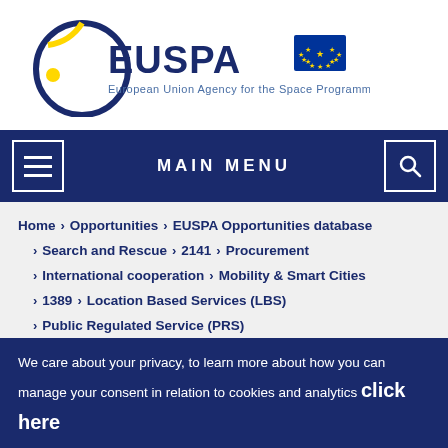[Figure (logo): EUSPA logo - European Union Agency for the Space Programme with EU flag]
MAIN MENU
Home > Opportunities > EUSPA Opportunities database
> Search and Rescue > 2141 > Procurement
> International cooperation > Mobility & Smart Cities
> 1389 > Location Based Services (LBS)
> Public Regulated Service (PRS)
> Timing & Synchronisation (T&S) > 2144
We care about your privacy, to learn more about how you can manage your consent in relation to cookies and analytics click here